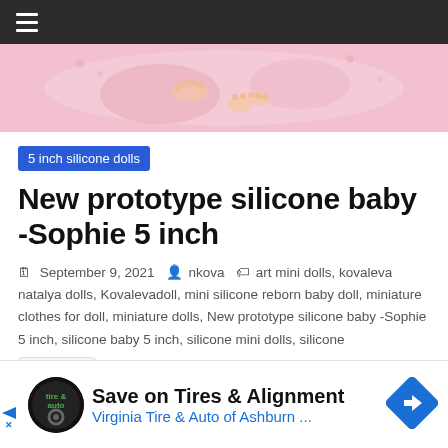Navigation bar with hamburger menu
[Figure (photo): Close-up photo of a newborn baby with pink knit background]
5 inch silicone dolls
New prototype silicone baby -Sophie 5 inch
September 9, 2021  nkova  art mini dolls, kovaleva natalya dolls, Kovalevadoll, mini silicone reborn baby doll, miniature clothes for doll, miniature dolls, New prototype silicone baby -Sophie 5 inch, silicone baby 5 inch, silicone mini dolls, silicone rn. mini silicone babies
[Figure (infographic): Advertisement banner: Save on Tires & Alignment - Virginia Tire & Auto of Ashburn with logo and navigation icon]